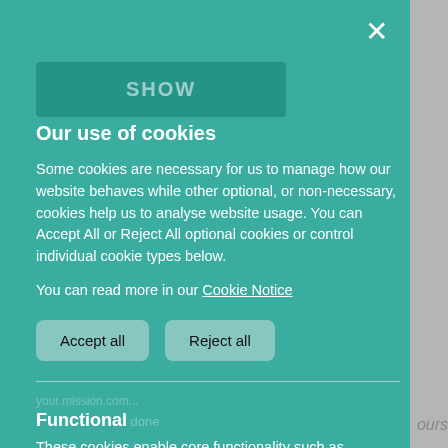Our use of cookies
Some cookies are necessary for us to manage how our website behaves while other optional, or non-necessary, cookies help us to analyse website usage. You can Accept All or Reject All optional cookies or control individual cookie types below.
You can read more in our Cookie Notice
Functional
These cookies enable core functionality such as security, network management, and accessibility. You may disable these by changing your browser settings, but this may affect how the website functions.
Analytics cookies
Analytical cookies help us to improve our website by collecting and reporting information on its usage.